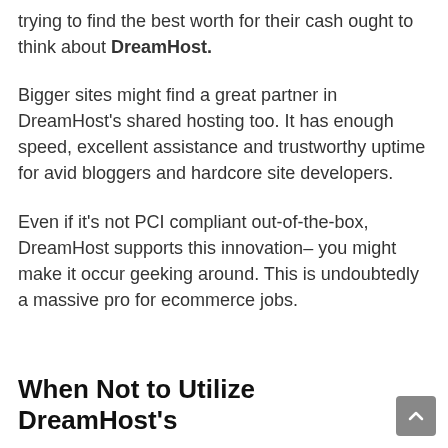trying to find the best worth for their cash ought to think about DreamHost.
Bigger sites might find a great partner in DreamHost's shared hosting too. It has enough speed, excellent assistance and trustworthy uptime for avid bloggers and hardcore site developers.
Even if it's not PCI compliant out-of-the-box, DreamHost supports this innovation– you might make it occur geeking around. This is undoubtedly a massive pro for ecommerce jobs.
When Not to Utilize DreamHost's